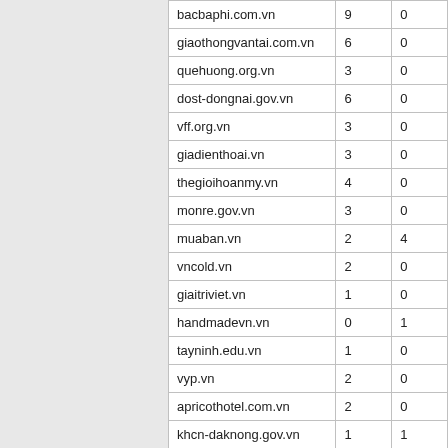| bacbaphi.com.vn | 9 | 0 |
| giaothongvantai.com.vn | 6 | 0 |
| quehuong.org.vn | 3 | 0 |
| dost-dongnai.gov.vn | 6 | 0 |
| vff.org.vn | 3 | 0 |
| giadienthoai.vn | 3 | 0 |
| thegioihoanmy.vn | 4 | 0 |
| monre.gov.vn | 3 | 0 |
| muaban.vn | 2 | 4 |
| vncold.vn | 2 | 0 |
| giaitriviet.vn | 1 | 0 |
| handmadevn.vn | 0 | 1 |
| tayninh.edu.vn | 1 | 0 |
| vyp.vn | 2 | 0 |
| apricothotel.com.vn | 2 | 0 |
| khcn-daknong.gov.vn | 1 | 1 |
| hanhphucgiadinh.vn | 12 | 0 |
| tienphongonline.com.vn | 5 | 0 |